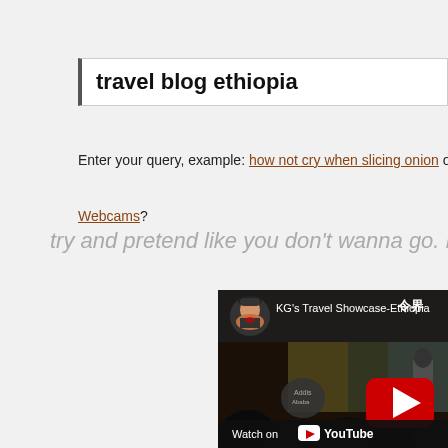travel blog ethiopia
Enter your query, example: how not cry when slicing onion or how to ente
Webcams?
try and pretend like you don't wanna go. LOL!
[Figure (screenshot): YouTube video thumbnail showing KG's Travel Showcase-Ethiopia, depicting a crowd scene inside what appears to be a restaurant or hall with a mural in the background, a red YouTube play button visible, and a 'Watch on YouTube' bar at the bottom.]